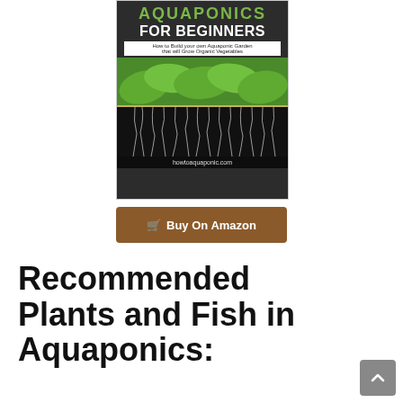[Figure (illustration): Book cover for 'Aquaponics for Beginners' showing green leafy plants growing in an aquaponic system with roots hanging down, and the URL howtoaquaponic.com at the bottom]
[Figure (illustration): Brown 'Buy On Amazon' button with shopping cart icon]
Recommended Plants and Fish in Aquaponics: